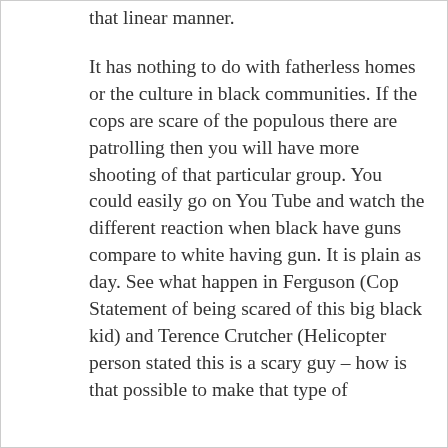that linear manner.
It has nothing to do with fatherless homes or the culture in black communities. If the cops are scare of the populous there are patrolling then you will have more shooting of that particular group. You could easily go on You Tube and watch the different reaction when black have guns compare to white having gun. It is plain as day. See what happen in Ferguson (Cop Statement of being scared of this big black kid) and Terence Crutcher (Helicopter person stated this is a scary guy – how is that possible to make that type of